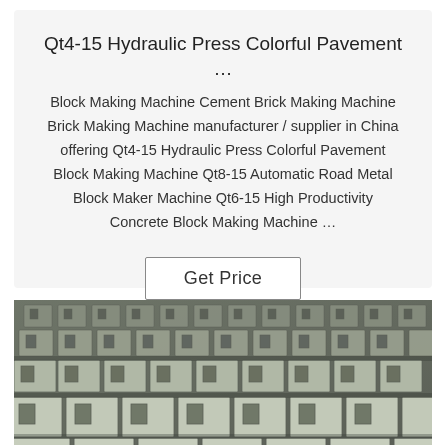Qt4-15 Hydraulic Press Colorful Pavement …
Block Making Machine Cement Brick Making Machine Brick Making Machine manufacturer / supplier in China offering Qt4-15 Hydraulic Press Colorful Pavement Block Making Machine Qt8-15 Automatic Road Metal Block Maker Machine Qt6-15 High Productivity Concrete Block Making Machine …
Get Price
[Figure (photo): Rows of grey concrete/stone interlocking pavement blocks arranged in a grid pattern, photographed from an angle, showing a manufacturing or storage setting.]